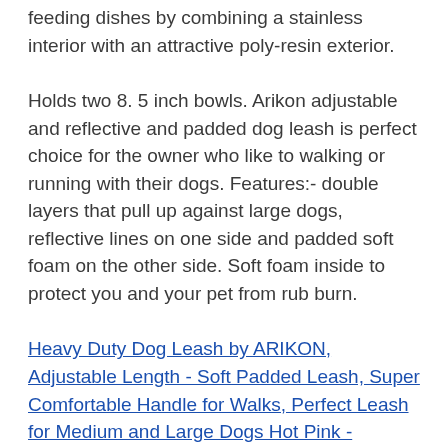feeding dishes by combining a stainless interior with an attractive poly-resin exterior.
Holds two 8. 5 inch bowls. Arikon adjustable and reflective and padded dog leash is perfect choice for the owner who like to walking or running with their dogs. Features:- double layers that pull up against large dogs, reflective lines on one side and padded soft foam on the other side. Soft foam inside to protect you and your pet from rub burn.
Heavy Duty Dog Leash by ARIKON, Adjustable Length - Soft Padded Leash, Super Comfortable Handle for Walks, Perfect Leash for Medium and Large Dogs Hot Pink - Reflective Strips #ad - Adjustable leash from 35. 4 to 55 inches gives you absolute control to lead your